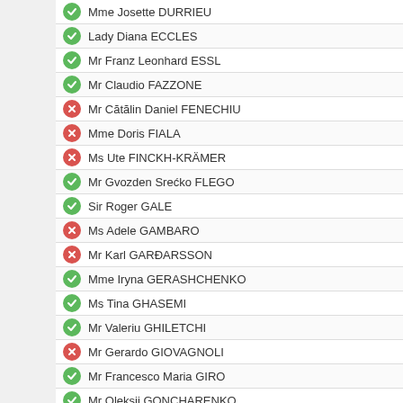Mme Josette DURRIEU
Lady Diana ECCLES
Mr Franz Leonhard ESSL
Mr Claudio FAZZONE
Mr Cătălin Daniel FENECHIU
Mme Doris FIALA
Ms Ute FINCKH-KRÄMER
Mr Gvozden Srećko FLEGO
Sir Roger GALE
Ms Adele GAMBARO
Mr Karl GARÐARSSON
Mme Iryna GERASHCHENKO
Ms Tina GHASEMI
Mr Valeriu GHILETCHI
Mr Gerardo GIOVAGNOLI
Mr Francesco Maria GIRO
Mr Oleksii GONCHARENKO